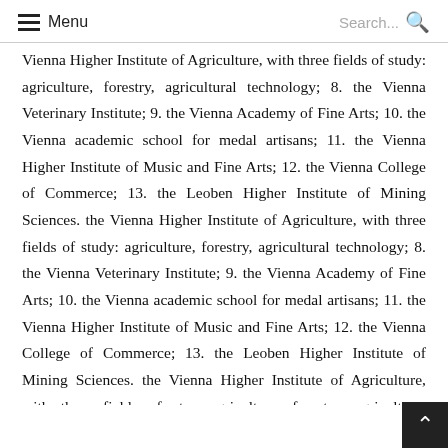Menu  Search...
Vienna Higher Institute of Agriculture, with three fields of study: agriculture, forestry, agricultural technology; 8. the Vienna Veterinary Institute; 9. the Vienna Academy of Fine Arts; 10. the Vienna academic school for medal artisans; 11. the Vienna Higher Institute of Music and Fine Arts; 12. the Vienna College of Commerce; 13. the Leoben Higher Institute of Mining Sciences. the Vienna Higher Institute of Agriculture, with three fields of study: agriculture, forestry, agricultural technology; 8. the Vienna Veterinary Institute; 9. the Vienna Academy of Fine Arts; 10. the Vienna academic school for medal artisans; 11. the Vienna Higher Institute of Music and Fine Arts; 12. the Vienna College of Commerce; 13. the Leoben Higher Institute of Mining Sciences. the Vienna Higher Institute of Agriculture, with three fields of study: agriculture, forestry, agricultural technology; 8. the Vienna